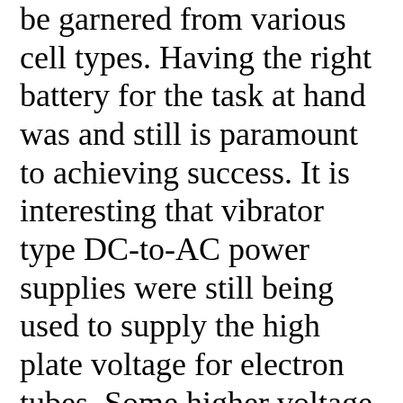be garnered from various cell types. Having the right battery for the task at hand was and still is paramount to achieving success. It is interesting that vibrator type DC-to-AC power supplies were still being used to supply the high plate voltage for electron tubes. Some higher voltage batteries could be